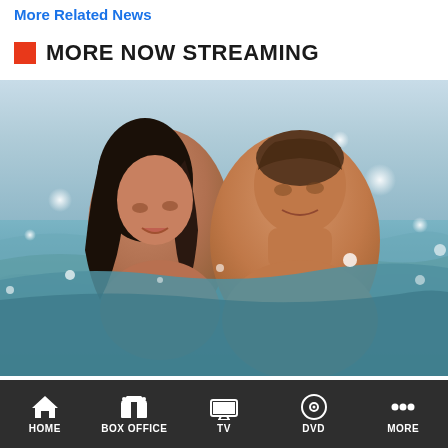More Related News
MORE NOW STREAMING
[Figure (photo): A couple embracing in the ocean waves — woman with dark wet hair and a man, both partially submerged, romantic beach scene]
Movies Leaving Netflix at the End of August 2021
HOME | BOX OFFICE | TV | DVD | MORE